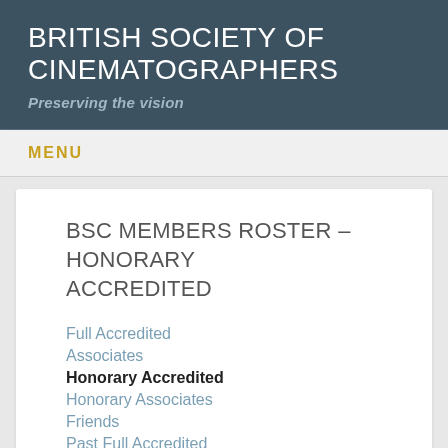BRITISH SOCIETY OF CINEMATOGRAPHERS
Preserving the vision
MENU
BSC MEMBERS ROSTER – HONORARY ACCREDITED
Full Accredited
Associates
Honorary Accredited
Honorary Associates
Friends
Past Full Accredited
Past Associates